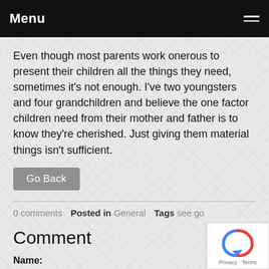Menu
Even though most parents work onerous to present their children all the things they need, sometimes it's not enough. I've two youngsters and four grandchildren and believe the one factor children need from their mother and father is to know they're cherished. Just giving them material things isn't sufficient.
Go Back
0 comments   Posted in General   Tags see go
Comment
Name: